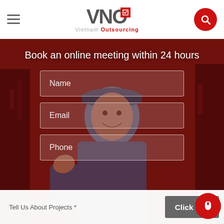[Figure (logo): VNO Vietnam Outsourcing logo with red flag icon and subtitle 'Vietnam Outsourcing']
[Figure (screenshot): Website screenshot showing a contact/booking form overlaid on a photo of a smiling Asian man in blue workwear giving thumbs up, with dark red overlay. Form fields for Name, Email, Phone, and Tell Us About Projects with a Click me! button.]
Book an online meeting within 24 hours
Name
Email
Phone
Tell Us About Projects *
Click me!